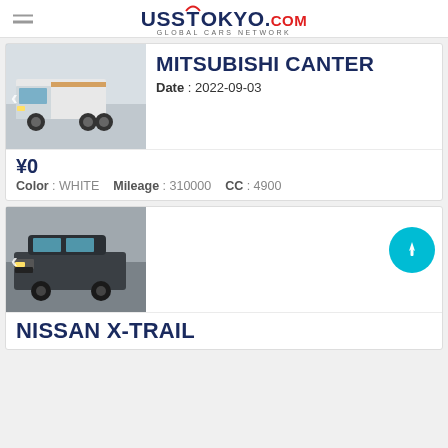USS TOKYO.COM GLOBAL CARS NETWORK
[Figure (photo): White Mitsubishi Canter flatbed truck, front-left view]
MITSUBISHI CANTER
Date : 2022-09-03
¥0
Color : WHITE   Mileage : 310000   CC : 4900
[Figure (photo): Dark/black Nissan X-Trail SUV, front-left view]
NISSAN X-TRAIL